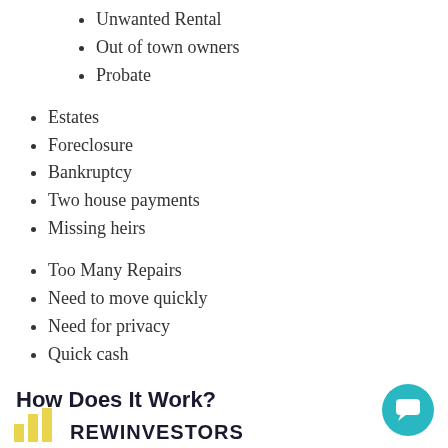Unwanted Rental
Out of town owners
Probate
Estates
Foreclosure
Bankruptcy
Two house payments
Missing heirs
Too Many Repairs
Need to move quickly
Need for privacy
Quick cash
How Does It Work?
[Figure (logo): REWInvestors logo with yellow cross/building icon and dark navy text]